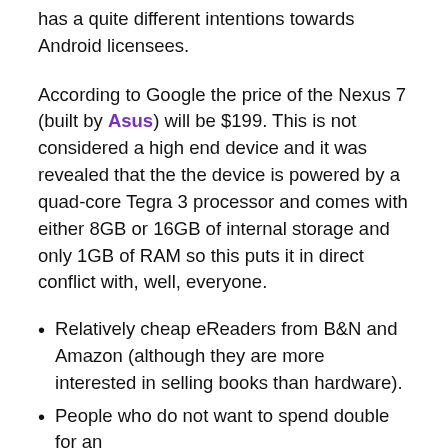has a quite different intentions towards Android licensees.
According to Google the price of the Nexus 7 (built by Asus) will be $199. This is not considered a high end device and it was revealed that the the device is powered by a quad-core Tegra 3 processor and comes with either 8GB or 16GB of internal storage and only 1GB of RAM so this puts it in direct conflict with, well, everyone.
Relatively cheap eReaders from B&N and Amazon (although they are more interested in selling books than hardware).
People who do not want to spend double for an